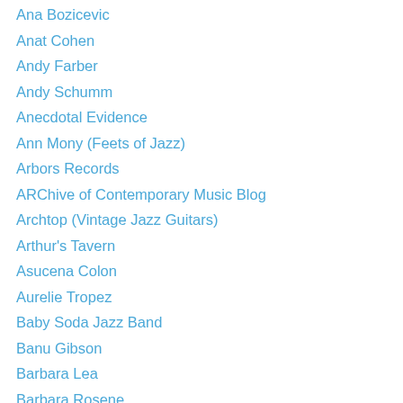Ana Bozicevic
Anat Cohen
Andy Farber
Andy Schumm
Anecdotal Evidence
Ann Mony (Feets of Jazz)
Arbors Records
ARChive of Contemporary Music Blog
Archtop (Vintage Jazz Guitars)
Arthur's Tavern
Asucena Colon
Aurelie Tropez
Baby Soda Jazz Band
Banu Gibson
Barbara Lea
Barbara Rosene
Bebop Spoken Here
Becky Kilgore
Ben Webster Foundation
Bent Persson